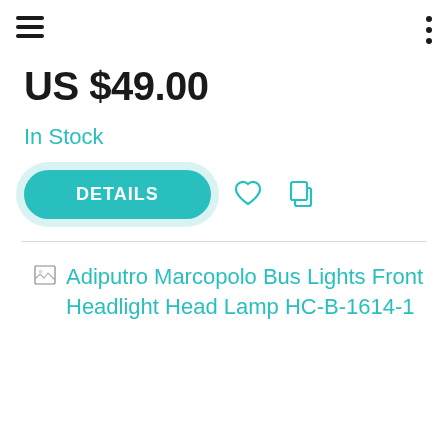navigation header with hamburger menu and dots menu
US $49.00
In Stock
DETAILS
[Figure (screenshot): Broken image thumbnail for Adiputro Marcopolo Bus Lights Front Headlight Head Lamp HC-B-1614-1]
Adiputro Marcopolo Bus Lights Front Headlight Head Lamp HC-B-1614-1